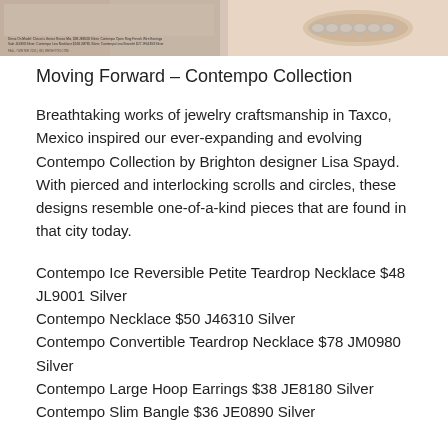[Figure (photo): Top portion of a catalog page showing jewelry on a model, split into two panels: left panel with small text caption listing product names and prices, right panel showing a close-up of a bracelet on a wrist.]
Moving Forward – Contempo Collection
Breathtaking works of jewelry craftsmanship in Taxco, Mexico inspired our ever-expanding and evolving Contempo Collection by Brighton designer Lisa Spayd. With pierced and interlocking scrolls and circles, these designs resemble one-of-a-kind pieces that are found in that city today.
Contempo Ice Reversible Petite Teardrop Necklace $48 JL9001 Silver
Contempo Necklace $50 J46310 Silver
Contempo Convertible Teardrop Necklace $78 JM0980 Silver
Contempo Large Hoop Earrings $38 JE8180 Silver
Contempo Slim Bangle $36 JE0890 Silver